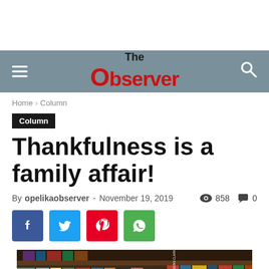The Observer
Home › Column
Column
Thankfulness is a family affair!
By opelikaobserver - November 19, 2019  858  0
[Figure (photo): Bookshelf with books, article header photo]
[Figure (infographic): Social share buttons: Facebook, Twitter, Pinterest, WhatsApp]